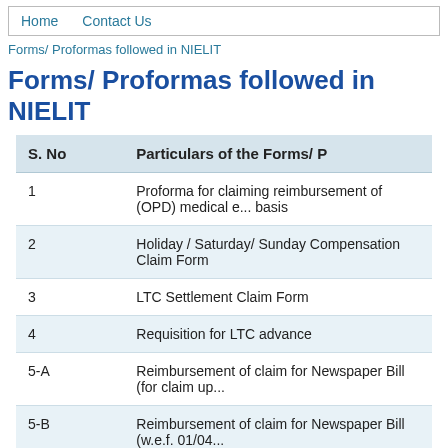Home   Contact Us
Forms/ Proformas followed in NIELIT
Forms/ Proformas followed in NIELIT
| S. No | Particulars of the Forms/ P... |
| --- | --- |
| 1 | Proforma for claiming reimbursement of (OPD) medical e... basis |
| 2 | Holiday / Saturday/ Sunday Compensation Claim Form |
| 3 | LTC Settlement Claim Form |
| 4 | Requisition for LTC advance |
| 5-A | Reimbursement of claim for Newspaper Bill (for claim up... |
| 5-B | Reimbursement of claim for Newspaper Bill (w.e.f. 01/04... |
| 6-A | TA claim for Tour |
| 6-B | Appendix to TA/DA Tour Claim Form (6-A) |